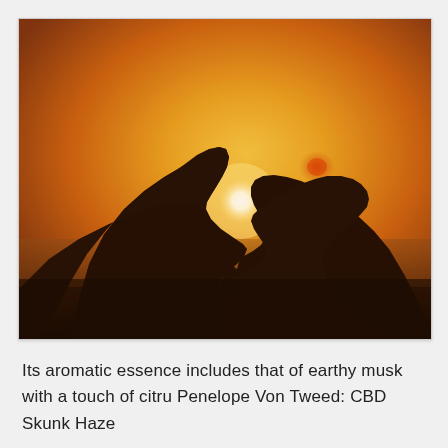[Figure (photo): Silhouette of two hands forming a heart shape against a warm orange and golden sunset sky, with the bright white sun visible through the heart opening. A soft red lens flare appears near the top right of the heart. The lower third of the image shows a dark, blurred landscape or water horizon.]
Its aromatic essence includes that of earthy musk with a touch of citru Penelope Von Tweed: CBD Skunk Haze